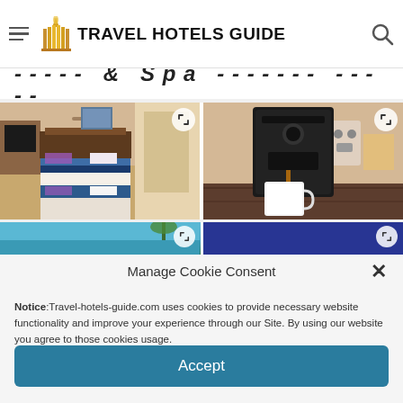TRAVEL HOTELS GUIDE
Hotel & Spa ... (partially visible)
[Figure (photo): Hotel bedroom with two queen beds, dark wood headboard, blue and white bedding, ceiling fan]
[Figure (photo): Black Nespresso coffee machine with white mug, wooden surface]
[Figure (photo): Hotel pool area partially visible, blue water, palm trees]
[Figure (photo): Dark navy blue hotel image partially visible]
Manage Cookie Consent
Notice: Travel-hotels-guide.com uses cookies to provide necessary website functionality and improve your experience through our Site. By using our website you agree to those cookies usage.
Accept